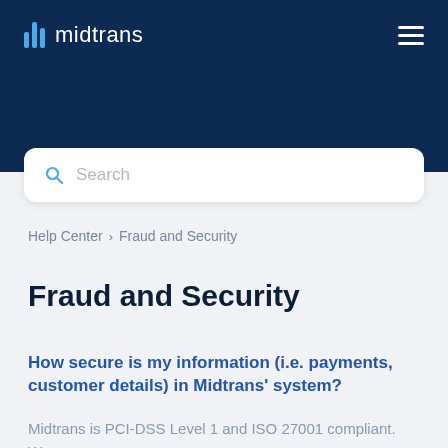midtrans
[Figure (screenshot): Search bar with magnifying glass icon and placeholder text 'Search']
Help Center › Fraud and Security
Fraud and Security
How secure is my information (i.e. payments, customer details) in Midtrans' system?
Midtrans is PCI-DSS Level 1 and ISO 27001 compliant. We